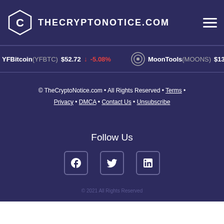THECRYPTONOTICE.COM
YFBitcoin(YFBTC) $52.72 ↓ -5.08%  MoonTools(MOONS) $13.81 ↑
© TheCryptoNotice.com • All Rights Reserved • Terms • Privacy • DMCA • Contact Us • Unsubscribe
Follow Us
[Figure (infographic): Social media icons: Facebook, Twitter, LinkedIn]
© 2021 All Rights Reserved